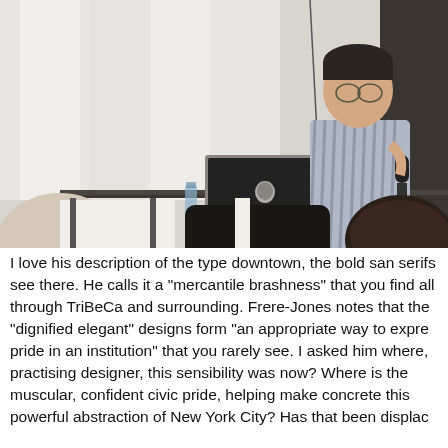[Figure (photo): A man in a striped button-up shirt sitting at a desk with an Apple MacBook laptop, holding a microphone. Two audience members are visible in the foreground, one in black. The setting appears to be a conference or lecture room with white curtains/walls in the background.]
I love his description of the type downtown, the bold san serifs see there. He calls it a "mercantile brashness" that you find all through TriBeCa and surrounding. Frere-Jones notes that the "dignified elegant" designs form "an appropriate way to express pride in an institution" that you rarely see. I asked him where, as a practising designer, this sensibility was now? Where is the muscular, confident civic pride, helping make concrete this powerful abstraction of New York City? Has that been displaced